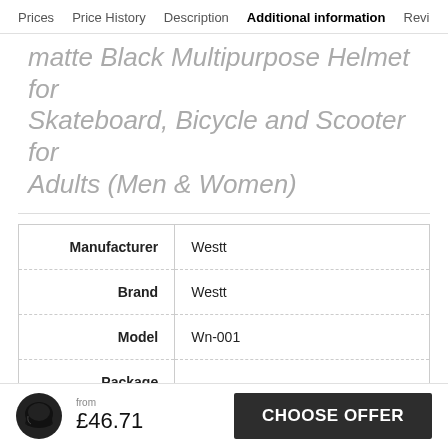Prices  Price History  Description  Additional information  Revi
matte Black Multipurpose Helmet for Skateboard, Bicycle and Scooter for Adults (Men & Women)
|  |  |
| --- | --- |
| Manufacturer | Westt |
| Brand | Westt |
| Model | Wn-001 |
| Package Dimensions | 29 x 24.5 x 21 cm, 955 Grams |
| Item model | M12 |
£46.71
CHOOSE OFFER